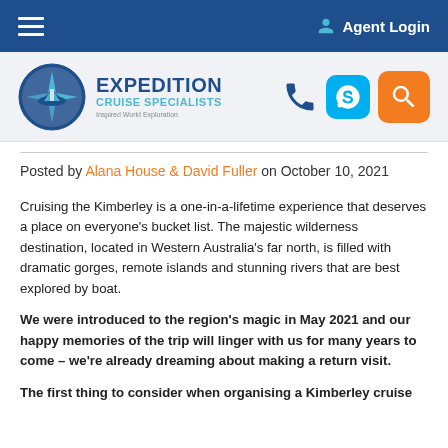Agent Login
[Figure (logo): Expedition Cruise Specialists logo with compass/ship icon]
Posted by Alana House & David Fuller on October 10, 2021
Cruising the Kimberley is a one-in-a-lifetime experience that deserves a place on everyone's bucket list. The majestic wilderness destination, located in Western Australia's far north, is filled with dramatic gorges, remote islands and stunning rivers that are best explored by boat.
We were introduced to the region's magic in May 2021 and our happy memories of the trip will linger with us for many years to come – we're already dreaming about making a return visit.
The first thing to consider when organising a Kimberley cruise